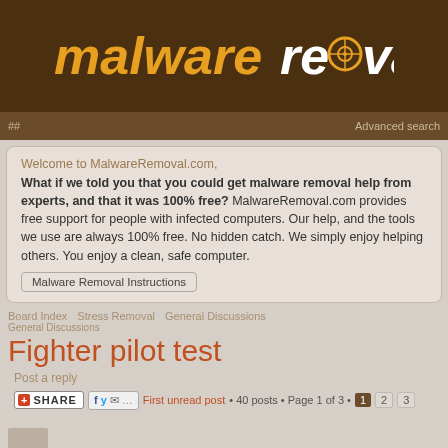[Figure (logo): MalwareRemoval.com logo — brown background, stylized italic text 'malware' in orange and 'removal' in white with a target crosshair icon replacing the 'o']
Advanced search
Welcome to MalwareRemoval.com, What if we told you that you could get malware removal help from experts, and that it was 100% free? MalwareRemoval.com provides free support for people with infected computers. Our help, and the tools we use are always 100% free. No hidden catch. We simply enjoy helping others. You enjoy a clean, safe computer.
Malware Removal Instructions
Board Index  Stress Removal  General Discussions
Fighter pilot test
Post a reply
First unread post • 40 posts • Page 1 of 3 • 1 2 3